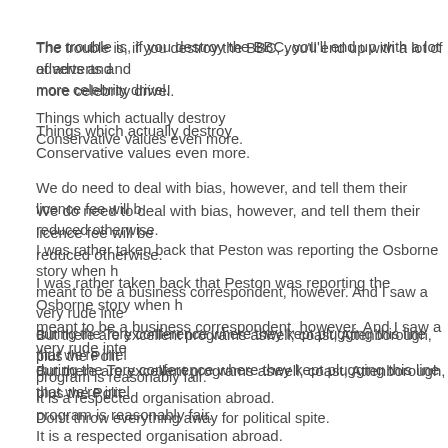The trouble is, if you destroy the BBC, you'll end up with a lot of adverts and more celebrity drivel.
Things which actually destroy Conservative values even more.
We do need to deal with bias, however, and tell them their licence fee will be reduced otherwise.
I was rather taken back that Peston was reporting the Osborne story when he is meant to be a business correspondent, however. And I saw a very rude interview during the Tory conference where they kept plugging this line that we're irrel-
But there are excellent programs aswell, coast, Attenborough, plus the Polit- program is reasonably fair.
It is a respected organisation abroad.
Don't throw everything away for political spite.
Posted by: Joe James B | November 03, 2008 at 12:11
The B.B.C. television tax should be abolished.
If people want to donate money to a "public service broadcaster" that is fine, they should not be forced to give money to a biased entity like the B.B.C.